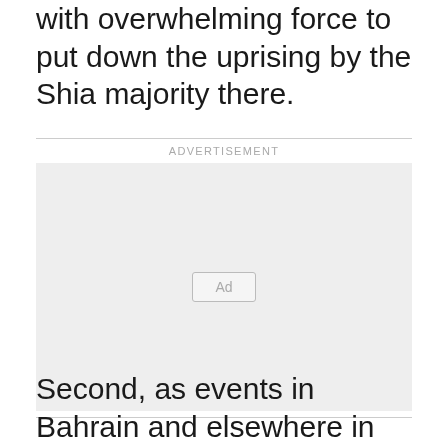with overwhelming force to put down the uprising by the Shia majority there.
[Figure (other): Advertisement placeholder box with 'Ad' button label]
Second, as events in Bahrain and elsewhere in the Gulf played out, it became clear that Iran had for years been planting agents of